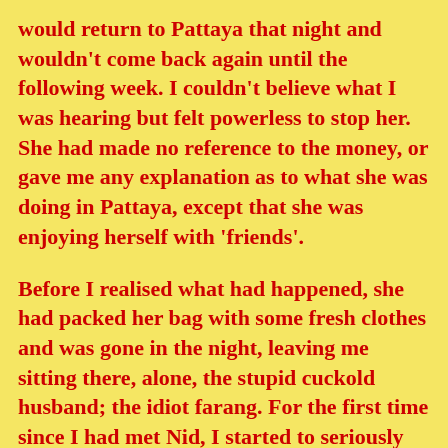would return to Pattaya that night and wouldn't come back again until the following week. I couldn't believe what I was hearing but felt powerless to stop her. She had made no reference to the money, or gave me any explanation as to what she was doing in Pattaya, except that she was enjoying herself with 'friends'.
Before I realised what had happened, she had packed her bag with some fresh clothes and was gone in the night, leaving me sitting there, alone, the stupid cuckold husband; the idiot farang. For the first time since I had met Nid, I started to seriously question what on earth I had got myselfinto. For the first time I